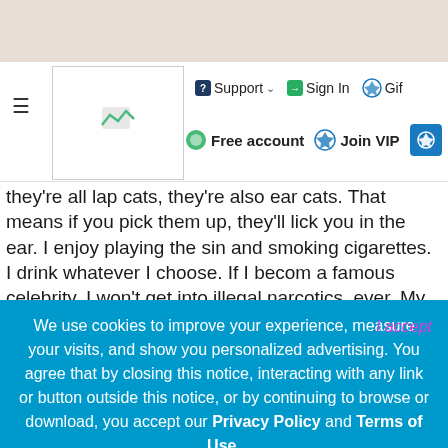[Figure (screenshot): Beige decorative top bar]
Support  Sign In  Gif  Free account  Join VIP
they're all lap cats, they're also ear cats. That means if you pick them up, they'll lick you in the ear. I enjoy playing the sin and smoking cigarettes. I drink whatever I choose. If I becom a famous celebrity, I won't get into illegal narcotics, ever. My nieces and nephews are going to be the death of me. I was popular in high school. Hopefully, I become popular in colleg as well. I lost my mother due to lung cancer when I was alm 20. My grandfather died when I was a year old. My grandmot died when I was almost 31 due to bladder cancer. I know som
We use cookies to improve your experience, measure your visits, and show you personalized advertising. You agree that by closing this notice, interacting with any link or button outside this notice, or by continuing to browse or download, you accept our Privacy Policy and Terms of Use.